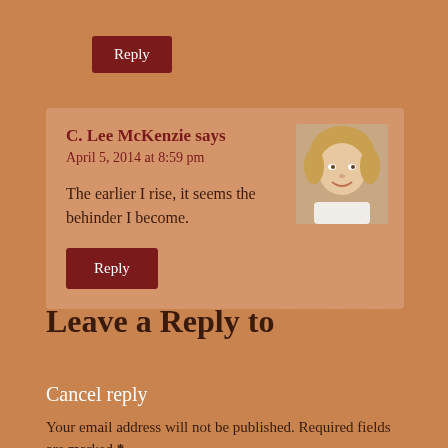Reply
C. Lee McKenzie says
April 5, 2014 at 8:59 pm
[Figure (photo): Avatar photo of C. Lee McKenzie, a woman with short blonde hair]
The earlier I rise, it seems the behinder I become.
Reply
Leave a Reply to Leslie S. Rose
Cancel reply
Your email address will not be published. Required fields are marked *